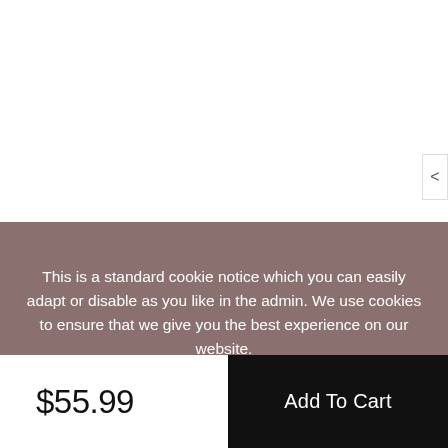[Figure (screenshot): White area representing the top portion of a product page with a navigation arrow on the right side]
This is a standard cookie notice which you can easily adapt or disable as you like in the admin. We use cookies to ensure that we give you the best experience on our website.
PRIVACY POLICY    ACCEPT ✓
$55.99
Add To Cart